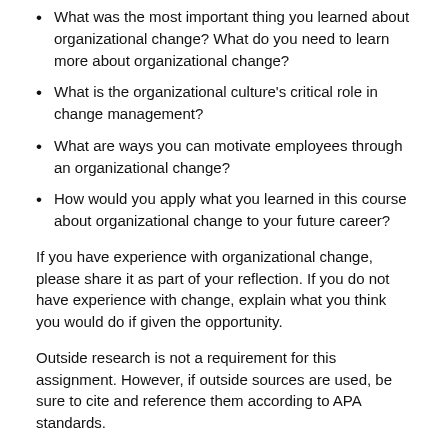What was the most important thing you learned about organizational change? What do you need to learn more about organizational change?
What is the organizational culture's critical role in change management?
What are ways you can motivate employees through an organizational change?
How would you apply what you learned in this course about organizational change to your future career?
If you have experience with organizational change, please share it as part of your reflection. If you do not have experience with change, explain what you think you would do if given the opportunity.
Outside research is not a requirement for this assignment. However, if outside sources are used, be sure to cite and reference them according to APA standards.